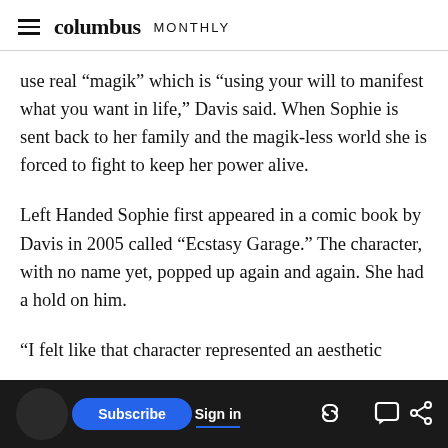columbus MONTHLY
use real “magik” which is “using your will to manifest what you want in life,” Davis said. When Sophie is sent back to her family and the magik-less world she is forced to fight to keep her power alive.
Left Handed Sophie first appeared in a comic book by Davis in 2005 called “Ecstasy Garage.” The character, with no name yet, popped up again and again. She had a hold on him.
“I felt like that character represented an aesthetic
[Figure (screenshot): Bottom navigation bar with circle icon, Subscribe button (blue), Sign in button (white text with blue underline), and three icons: link, comment, share on dark background]